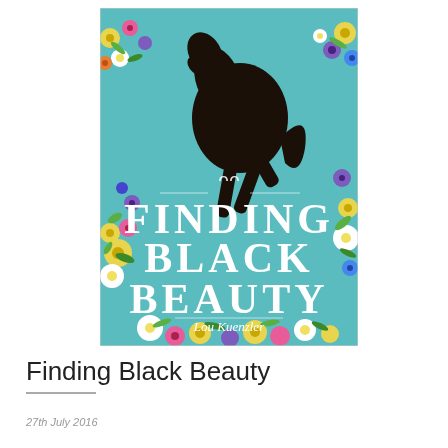[Figure (illustration): Book cover of 'Finding Black Beauty' by Lou Kuenzler. Teal/turquoise background with a black silhouette of a rearing horse at the top. Large white serif text reads 'FINDING BLACK BEAUTY'. Colorful flowers (yellow, white, pink, blue, purple) border the edges of the cover. Author name 'Lou Kuenzler' in white at the bottom center.]
Finding Black Beauty
27th July 2016